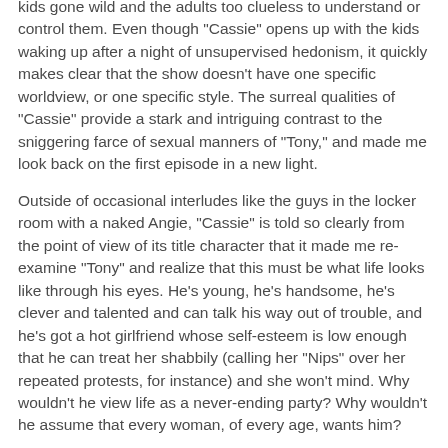kids gone wild and the adults too clueless to understand or control them. Even though "Cassie" opens up with the kids waking up after a night of unsupervised hedonism, it quickly makes clear that the show doesn't have one specific worldview, or one specific style. The surreal qualities of "Cassie" provide a stark and intriguing contrast to the sniggering farce of sexual manners of "Tony," and made me look back on the first episode in a new light.
Outside of occasional interludes like the guys in the locker room with a naked Angie, "Cassie" is told so clearly from the point of view of its title character that it made me re-examine "Tony" and realize that this must be what life looks like through his eyes. He's young, he's handsome, he's clever and talented and can talk his way out of trouble, and he's got a hot girlfriend whose self-esteem is low enough that he can treat her shabbily (calling her "Nips" over her repeated protests, for instance) and she won't mind. Why wouldn't he view life as a never-ending party? Why wouldn't he assume that every woman, of every age, wants him?
"Cassie," meanwhile, unfolds with the logic of a dream. We